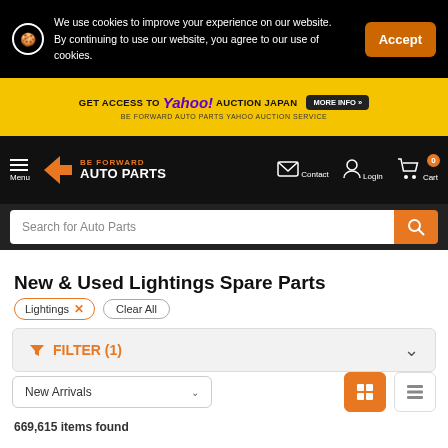We use cookies to improve your experience on our website. By continuing to use our website, you agree to our use of cookies.
[Figure (screenshot): Yahoo Auction Japan promotional banner with yellow background]
[Figure (logo): Be Forward Auto Parts logo with navigation icons]
Search for Auto Parts
New & Used Lightings Spare Parts
Lightings  Clear All
FILTER (1)
New Arrivals
669,615 items found